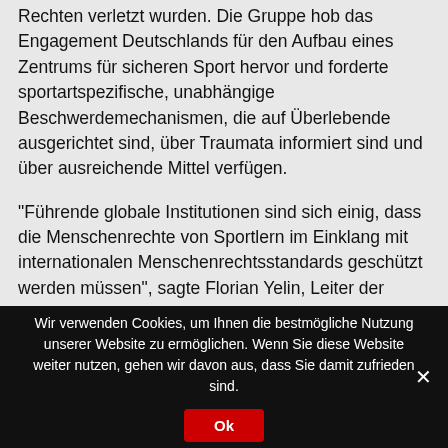Rechten verletzt wurden. Die Gruppe hob das Engagement Deutschlands für den Aufbau eines Zentrums für sicheren Sport hervor und forderte sportartspezifische, unabhängige Beschwerdemechanismen, die auf Überlebende ausgerichtet sind, über Traumata informiert sind und über ausreichende Mittel verfügen.
"Führende globale Institutionen sind sich einig, dass die Menschenrechte von Sportlern im Einklang mit internationalen Menschenrechtsstandards geschützt werden müssen", sagte Florian Yelin, Leiter der Abteilung Politik und Forschung bei der World Players Association, einem Kernpartner der Sport & Rights Alliance und Miteinreicher der deutschen Anhörung zu Sport und Menschenrechten. "Die Umsetzung auf nationaler Ebene ist
Wir verwenden Cookies, um Ihnen die bestmögliche Nutzung unserer Website zu ermöglichen. Wenn Sie diese Website weiter nutzen, gehen wir davon aus, dass Sie damit zufrieden sind.